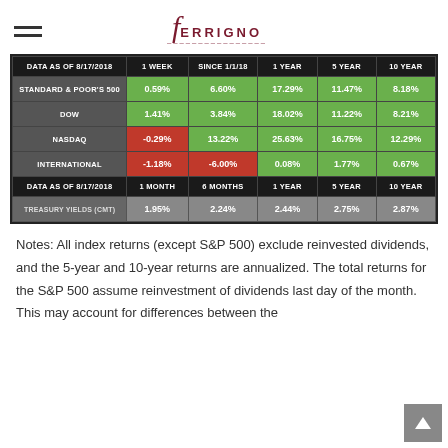FERRIGNO
| DATA AS OF 8/17/2018 | 1 WEEK | SINCE 1/1/18 | 1 YEAR | 5 YEAR | 10 YEAR |
| --- | --- | --- | --- | --- | --- |
| STANDARD & POOR'S 500 | 0.59% | 6.60% | 17.29% | 11.47% | 8.18% |
| DOW | 1.41% | 3.84% | 18.02% | 11.22% | 8.21% |
| NASDAQ | -0.29% | 13.22% | 25.63% | 16.75% | 12.29% |
| INTERNATIONAL | -1.18% | -6.00% | 0.08% | 1.77% | 0.67% |
| DATA AS OF 8/17/2018 | 1 MONTH | 6 MONTHS | 1 YEAR | 5 YEAR | 10 YEAR |
| --- | --- | --- | --- | --- | --- |
| TREASURY YIELDS (CMT) | 1.95% | 2.24% | 2.44% | 2.75% | 2.87% |
Notes: All index returns (except S&P 500) exclude reinvested dividends, and the 5-year and 10-year returns are annualized. The total returns for the S&P 500 assume reinvestment of dividends last day of the month. This may account for differences between the